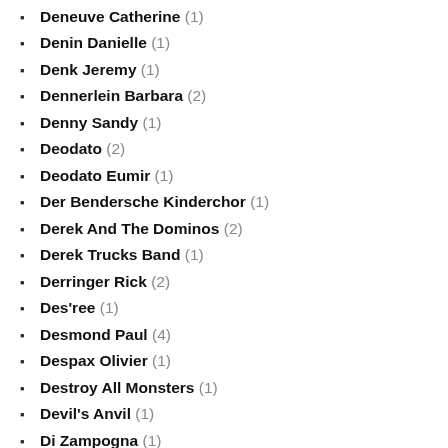Deneuve Catherine (1)
Denin Danielle (1)
Denk Jeremy (1)
Dennerlein Barbara (2)
Denny Sandy (1)
Deodato (2)
Deodato Eumir (1)
Der Bendersche Kinderchor (1)
Derek And The Dominos (2)
Derek Trucks Band (1)
Derringer Rick (2)
Des'ree (1)
Desmond Paul (4)
Despax Olivier (1)
Destroy All Monsters (1)
Devil's Anvil (1)
Di Zampogna (1)
Diamond Neil (2)
Dibango Manu (1)
Dick Dale & His Del-Tones (2)
Dick Hyman Trio (1)